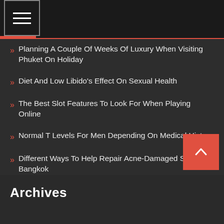Navigation bar with menu and search icons
Planning A Couple Of Weeks Of Luxury When Visiting Phuket On Holiday
Diet And Low Libido's Effect On Sexual Health
The Best Slot Features To Look For When Playing Online
Normal T Levels For Men Depending On Medical History
Different Ways To Help Repair Acne-Damaged Skin In Bangkok
Archives